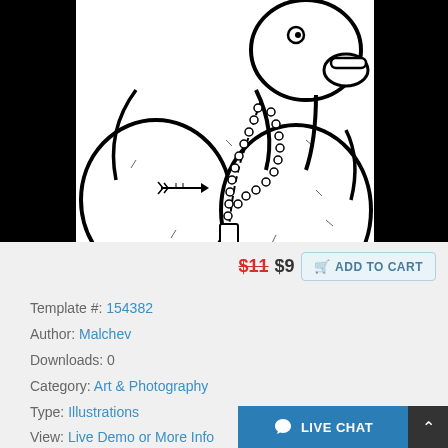[Figure (illustration): Black and white line art illustration of a cartoon hippopotamus or large creature with bead necklace/chain with pendant, arrow tattoo on body, drawn in comic/coloring book style. Black background with white illustration centered.]
$11 $9  ADD TO CART
Template #: 154382
Author: Malchev
Downloads: 0
Category: Art & Photography
Type: Illustrations
View: Live Demo or More Info
Alternate Live Demo: Click Here